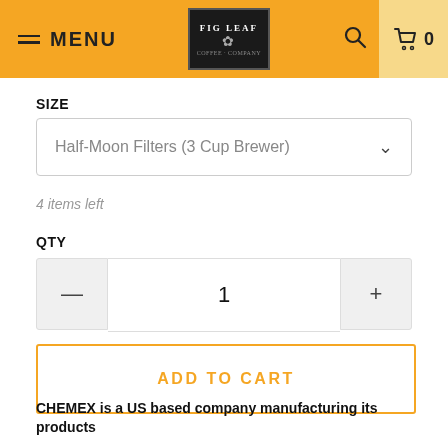MENU | Fig Leaf Coffee | 0
SIZE
Half-Moon Filters (3 Cup Brewer)
4 items left
QTY
1
ADD TO CART
CHEMEX is a US based company manufacturing its products